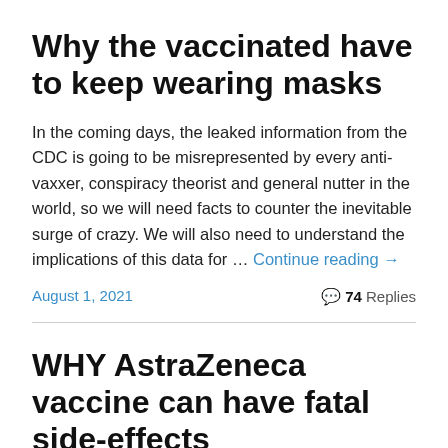Why the vaccinated have to keep wearing masks
In the coming days, the leaked information from the CDC is going to be misrepresented by every anti-vaxxer, conspiracy theorist and general nutter in the world, so we will need facts to counter the inevitable surge of crazy. We will also need to understand the implications of this data for … Continue reading →
August 1, 2021
74 Replies
WHY AstraZeneca vaccine can have fatal side-effects